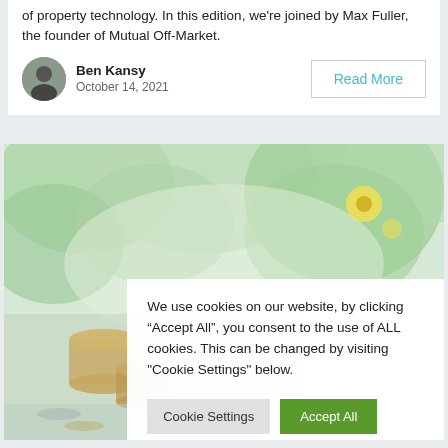of property technology. In this edition, we're joined by Max Fuller, the founder of Mutual Off-Market.
Ben Kansy
October 14, 2021
Read More
[Figure (photo): Blurred background image of green garden with yellow flowers and coins stacked in foreground on a table]
We use cookies on our website, by clicking “Accept All”, you consent to the use of ALL cookies. This can be changed by visiting "Cookie Settings" below.
Cookie Settings
Accept All